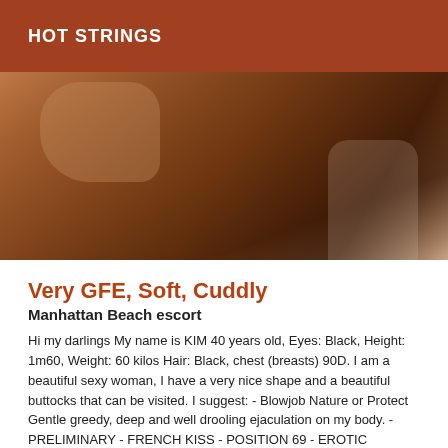HOT STRINGS
[Figure (photo): Close-up photo of a person's body, warm brown tones]
Very GFE, Soft, Cuddly
Manhattan Beach escort
Hi my darlings My name is KIM 40 years old, Eyes: Black, Height: 1m60, Weight: 60 kilos Hair: Black, chest (breasts) 90D. I am a beautiful sexy woman, I have a very nice shape and a beautiful buttocks that can be visited. I suggest: - Blowjob Nature or Protect Gentle greedy, deep and well drooling ejaculation on my body. - PRELIMINARY - FRENCH KISS - POSITION 69 - EROTIC MASSAGE - MASSAGE BODY - PROSTATE MASSAGE - PENETRATION PROTECT - ANALINGUS - CARESSES - LEVRETTE - ALL POSITIONS OF